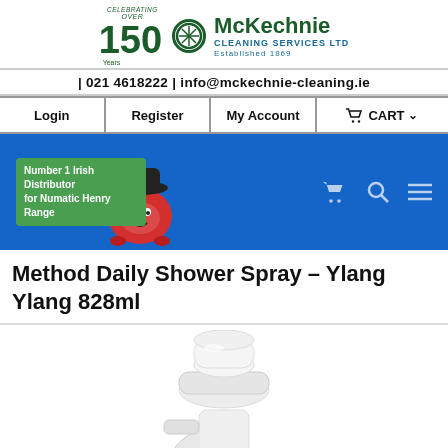[Figure (logo): McKechnie Cleaning Services Ltd logo — Celebrating Over 150 Years, Established 1869, green and blue color scheme]
| 021 4618222 | info@mckechnie-cleaning.ie
Login | Register | My Account | CART
[Figure (infographic): Blue banner with 'Number 1 Irish Distributor for Numatic Henry Range' badge, red Henry vacuum cleaner image, and cart/search/menu icons on the right]
Method Daily Shower Spray – Ylang Ylang 828ml
[Figure (photo): Top portion of white spray bottle trigger/nozzle on white background]